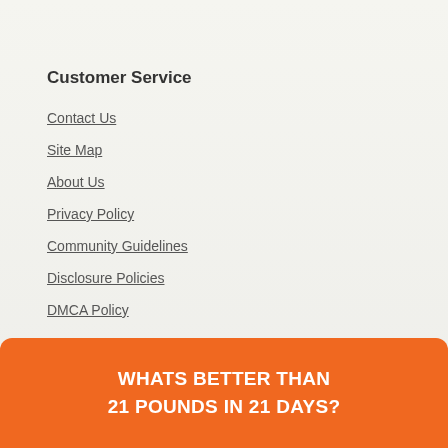Customer Service
Contact Us
Site Map
About Us
Privacy Policy
Community Guidelines
Disclosure Policies
DMCA Policy
Quick Links
WHATS BETTER THAN 21 POUNDS IN 21 DAYS?